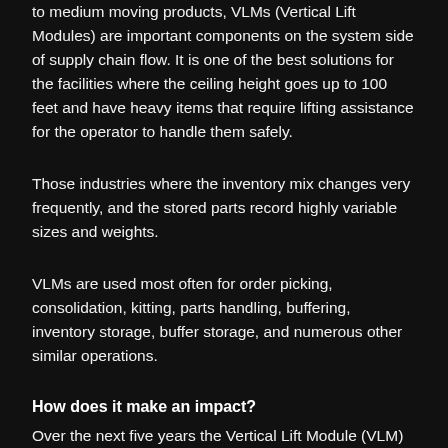to medium moving products, VLMs (Vertical Lift Modules) are important components on the system side of supply chain flow. It is one of the best solutions for the facilities where the ceiling height goes up to 100 feet and have heavy items that require lifting assistance for the operator to handle them safely.
Those industries where the inventory mix changes very frequently, and the stored parts record highly variable sizes and weights.
VLMs are used most often for order picking, consolidation, kitting, parts handling, buffering, inventory storage, buffer storage, and numerous other similar operations.
How does it make an impact?
Over the next five years the Vertical Lift Module (VLM)